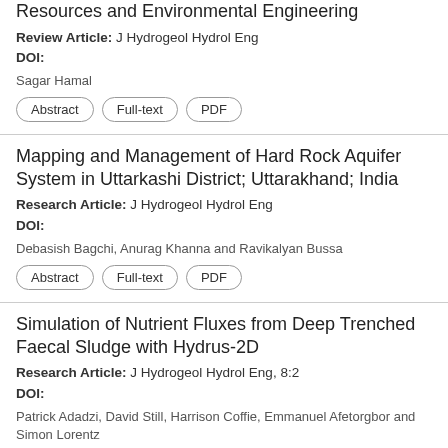Resources and Environmental Engineering
Review Article: J Hydrogeol Hydrol Eng
DOI:
Sagar Hamal
Abstract | Full-text | PDF
Mapping and Management of Hard Rock Aquifer System in Uttarkashi District; Uttarakhand; India
Research Article: J Hydrogeol Hydrol Eng
DOI:
Debasish Bagchi,  Anurag Khanna and Ravikalyan Bussa
Abstract | Full-text | PDF
Simulation of Nutrient Fluxes from Deep Trenched Faecal Sludge with Hydrus-2D
Research Article: J Hydrogeol Hydrol Eng, 8:2
DOI:
Patrick Adadzi, David Still, Harrison Coffie, Emmanuel Afetorgbor and Simon Lorentz
Abstract | Full-text | PDF